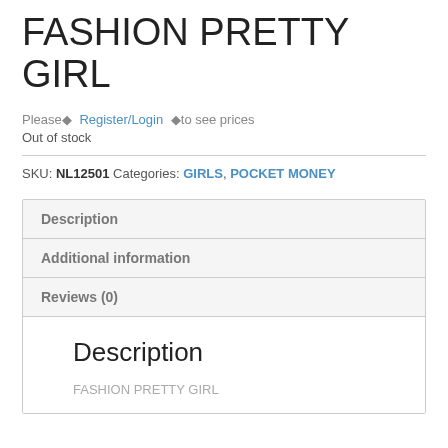FASHION PRETTY GIRL
Please◆ Register/Login ◆to see prices
Out of stock
SKU: NL12501 Categories: GIRLS, POCKET MONEY
Description
Additional information
Reviews (0)
Description
FASHION PRETTY GIRL